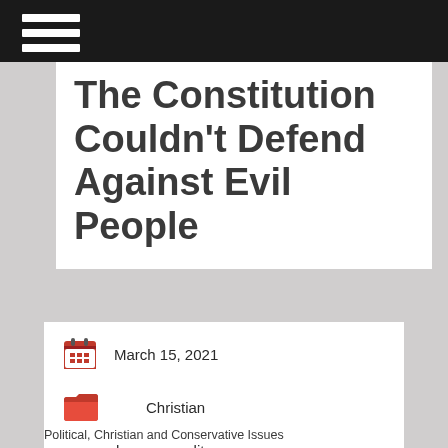The Constitution Couldn't Defend Against Evil People
March 15, 2021
Christian
homosexuality
Political, Christian and Conservative Issues